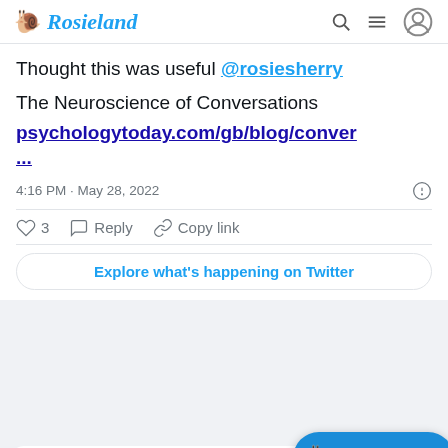🐌 Rosieland
Thought this was useful @rosiesherry
The Neuroscience of Conversations
psychologytoday.com/gb/blog/conver...
4:16 PM · May 28, 2022
♡ 3   Reply   Copy link
Explore what's happening on Twitter
Waves @Making_Waves · Follow